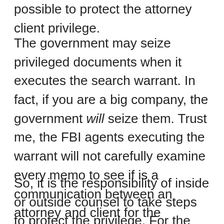possible to protect the attorney client privilege.
The government may seize privileged documents when it executes the search warrant. In fact, if you are a big company, the government will seize them. Trust me, the FBI agents executing the warrant will not carefully examine every memo to see if is a communication between an attorney and client for the purpose of obtaining legal advice.
So, it is the responsibility of inside or outside counsel to take steps to protect the privilege. For the ABA conference, I wrote what I hope is a